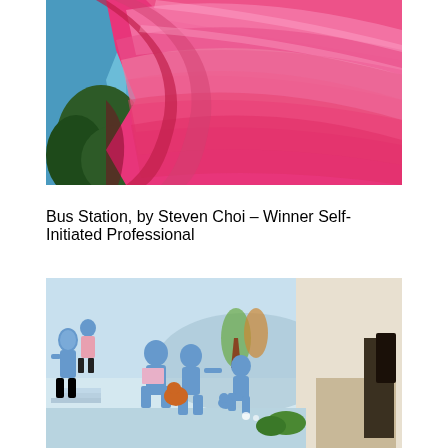[Figure (illustration): Abstract painting with sweeping pink/magenta and red brushstrokes across the upper right, with blue sky and dark green trees visible on the left side — Bus Station by Steven Choi]
Bus Station, by Steven Choi – Winner Self-Initiated Professional
[Figure (photo): Photo of a mural on a wall featuring cartoon-style blue illustrated characters — people reading, pointing, and interacting — set against a light blue outdoor scene with trees. A room interior is visible on the right with furniture.]